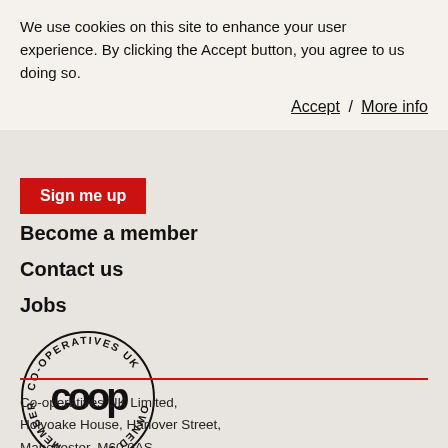We use cookies on this site to enhance your user experience. By clicking the Accept button, you agree to us doing so.
Accept / More info
Sign me up
Become a member
Contact us
Jobs
[Figure (logo): Co-operatives UK circular badge logo with co-op symbol in the centre and text 'CO-OPERATIVES UK OWNED BY OUR MEMBERS' around the ring]
Co-operatives UK Limited, Holyoake House, Hanover Street, Manchester, M60 0AS